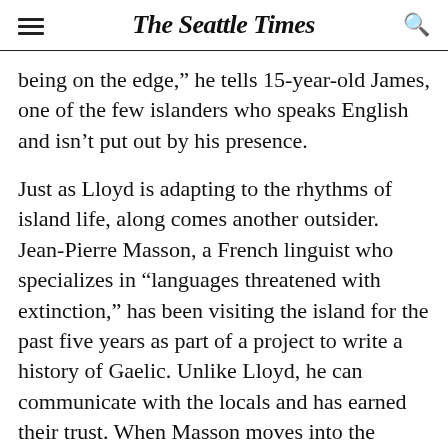The Seattle Times
being on the edge,” he tells 15-year-old James, one of the few islanders who speaks English and isn’t put out by his presence.
Just as Lloyd is adapting to the rhythms of island life, along comes another outsider. Jean-Pierre Masson, a French linguist who specializes in “languages threatened with extinction,” has been visiting the island for the past five years as part of a project to write a history of Gaelic. Unlike Lloyd, he can communicate with the locals and has earned their trust. When Masson moves into the cottage next to Lloyd’s, each man accuses the other of encroaching upon his turf and causing a disruption: Lloyd needs solitude and silence to paint; Masson needs full immersion in the Irish language and no